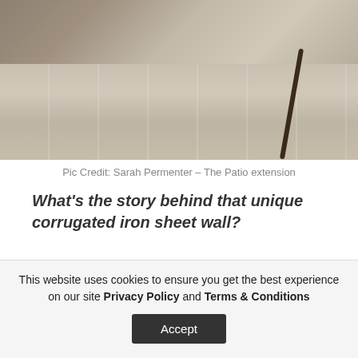[Figure (photo): Interior photo showing a patio/outdoor area with light wood plank flooring, metal chair frames, and a table with books/items on top. Mustard/olive cushion visible on chair. Overhead view angle.]
Pic Credit: Sarah Permenter – The Patio extension
What’s the story behind that unique corrugated iron sheet wall?
Well that is a wall paper, printed by, hospital and little, I saw it when I was working in digsby in
This website uses cookies to ensure you get the best experience on our site Privacy Policy and Terms & Conditions